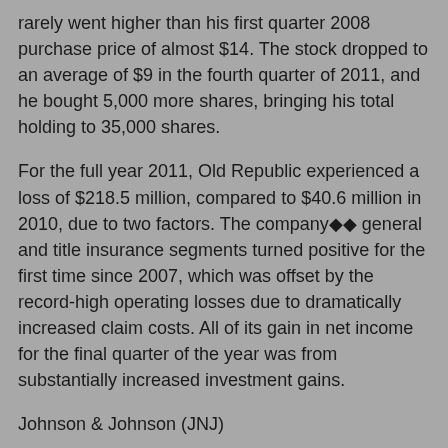rarely went higher than his first quarter 2008 purchase price of almost $14. The stock dropped to an average of $9 in the fourth quarter of 2011, and he bought 5,000 more shares, bringing his total holding to 35,000 shares.
For the full year 2011, Old Republic experienced a loss of $218.5 million, compared to $40.6 million in 2010, due to two factors. The company◆◆ general and title insurance segments turned positive for the first time since 2007, which was offset by the record-high operating losses due to dramatically increased claim costs. All of its gain in net income for the final quarter of the year was from substantially increased investment gains.
Johnson & Johnson (JNJ)
Prem Watsa has had Johnson & Johnson (JNJ) in his portfolio since prior to 2007, and it is his